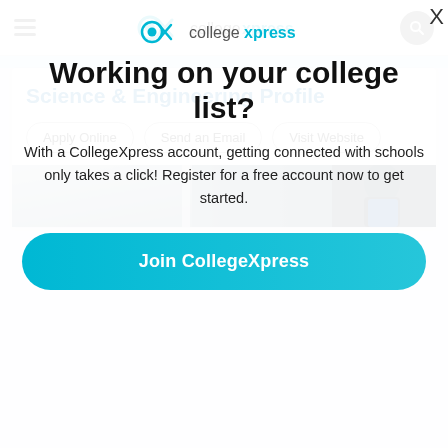collegexpress navigation bar with hamburger menu and search button
Science & Engineering Profile
Apply Online
Send an Email
Visit Website
[Figure (photo): Photo strip showing students in a lab or classroom setting]
[Figure (logo): CollegeXpress logo with CX icon and text]
Working on your college list?
With a CollegeXpress account, getting connected with schools only takes a click! Register for a free account now to get started.
Join CollegeXpress